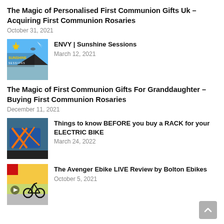The Magic of Personalised First Communion Gifts Uk – Acquiring First Communion Rosaries
October 31, 2021
ENVY | Sunshine Sessions
March 12, 2021
The Magic of First Communion Gifts For Granddaughter – Buying First Communion Rosaries
December 11, 2021
Things to know BEFORE you buy a RACK for your ELECTRIC BIKE
March 24, 2022
The Avenger Ebike LIVE Review by Bolton Ebikes
October 5, 2021